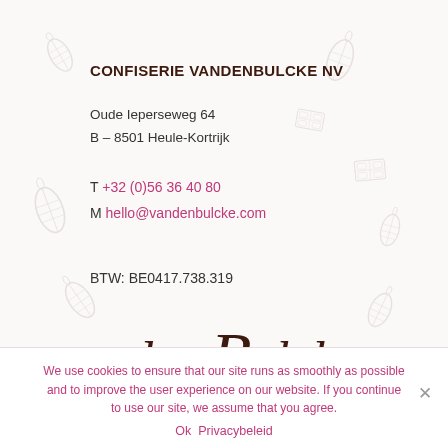CONFISERIE VANDENBULCKE NV
Oude Ieperseweg 64
B – 8501 Heule-Kortrijk
T +32 (0)56 36 40 80
M hello@vandenbulcke.com
BTW: BE0417.738.319
[Figure (logo): vandenBulcke script logo in dark brown]
We use cookies to ensure that our site runs as smoothly as possible and to improve the user experience on our website. If you continue to use our site, we assume that you agree.
Ok  Privacybeleid